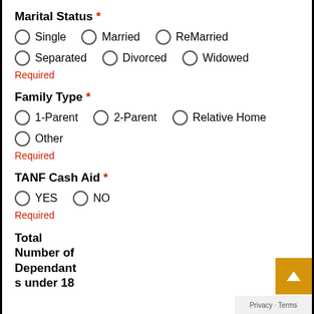Marital Status *
Single  Married  ReMarried
Separated  Divorced  Widowed
Required
Family Type *
1-Parent  2-Parent  Relative Home
Other
Required
TANF Cash Aid *
YES  NO
Required
Total Number of Dependants under 18